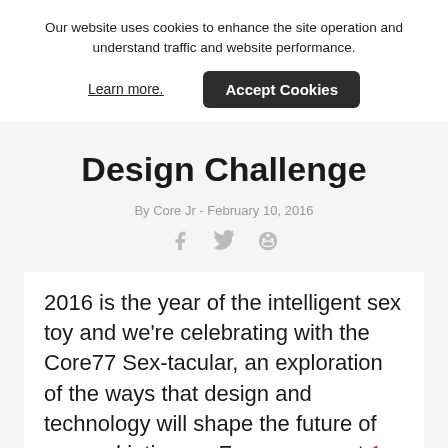Our website uses cookies to enhance the site operation and understand traffic and website performance.
Learn more.   Accept Cookies
Design Challenge
By Core Jr - February 10, 2016
[Figure (other): Social sharing icons: Facebook, Twitter, Reddit]
2016 is the year of the intelligent sex toy and we're celebrating with the Core77 Sex-tacular, an exploration of the ways that design and technology will shape the future of sex and intimacy. For our current 1-Hour Design